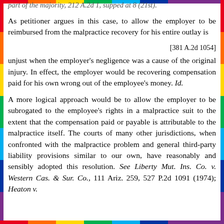part of the majority. 212 A.2d 1, supped at 8 (21st). As petitioner argues in this case, to allow the employer to be reimbursed from the malpractice recovery for his entire outlay is
[381 A.2d 1054]
unjust when the employer's negligence was a cause of the original injury. In effect, the employer would be recovering compensation paid for his own wrong out of the employee's money. Id.
A more logical approach would be to allow the employer to be subrogated to the employee's rights in a malpractice suit to the extent that the compensation paid or payable is attributable to the malpractice itself. The courts of many other jurisdictions, when confronted with the malpractice problem and general third-party liability provisions similar to our own, have reasonably and sensibly adopted this resolution. See Liberty Mut. Ins. Co. v. Western Cas. & Sur. Co., 111 Ariz. 259, 527 P.2d 1091 (1974); Heaton v.